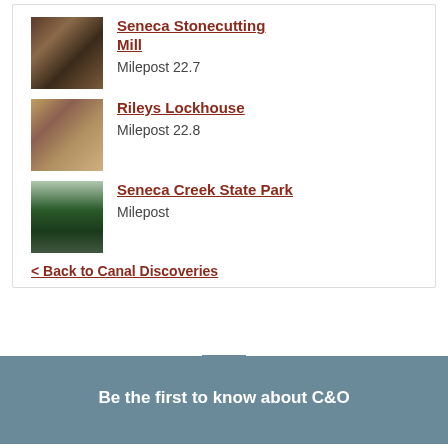Seneca Stonecutting Mill
Milepost 22.7
Rileys Lockhouse
Milepost 22.8
Seneca Creek State Park
Milepost
< Back to Canal Discoveries
Be the first to know about C&O